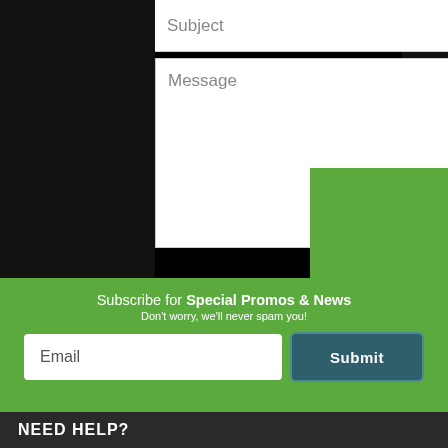Subject
Message
Send
Subscribe for Special Promos & News
Don't worry, we'll never spam you!
Email
Submit
NEED HELP?